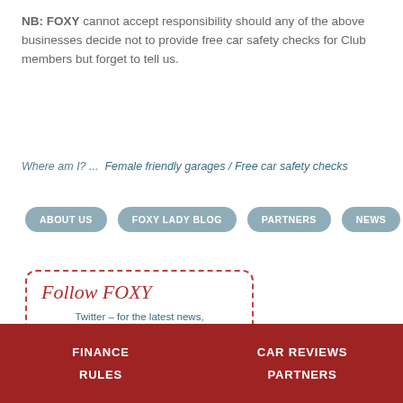NB: FOXY cannot accept responsibility should any of the above businesses decide not to provide free car safety checks for Club members but forget to tell us.
Where am I? ...  Female friendly garages / Free car safety checks
ABOUT US
FOXY LADY BLOG
PARTNERS
NEWS
Follow FOXY
Twitter – for the latest news, views & female reviews
FINANCE   CAR REVIEWS   RULES   PARTNERS